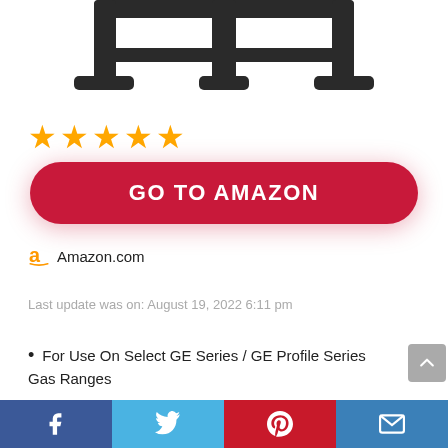[Figure (photo): Partial view of a black cast iron stove grate on white background, showing the top portion cut off at the top edge.]
[Figure (other): Five gold/orange filled star rating icons indicating 5-star rating.]
[Figure (other): Red rounded rectangle button with white bold text reading GO TO AMAZON]
Amazon.com
Last update was on: August 19, 2022 6:11 pm
For Use On Select GE Series / GE Profile Series Gas Ranges
Ideal For Cooking With Odd-sized Cookware
Facebook | Twitter | Pinterest | Email